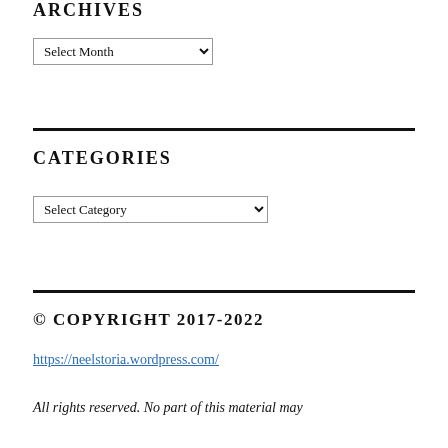ARCHIVES
Select Month
CATEGORIES
Select Category
© COPYRIGHT 2017-2022
https://neelstoria.wordpress.com/
All rights reserved. No part of this material may